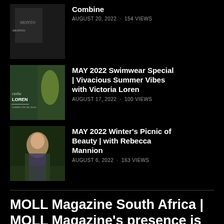[Figure (photo): Thumbnail image of a magazine cover with 'MONTO' text visible]
Combine
AUGUST 20, 2022 · 154 VIEWS
[Figure (photo): Thumbnail image of Victoria Loren swimwear special magazine cover]
MAY 2022 Swimwear Special | Vivacious Summer Vibes with Victoria Loren
AUGUST 17, 2022 · 100 VIEWS
[Figure (photo): Thumbnail photo of Rebecca Mannion outdoors]
MAY 2022 Winter's Picnic of Beauty | with Rebecca Mannion
AUGUST 6, 2022 · 163 VIEWS
MOLL Magazine South Africa | MOLL Magazine's presence is felt worldwide.
SUBSCRIBE   ADVERTISING   ABOUT